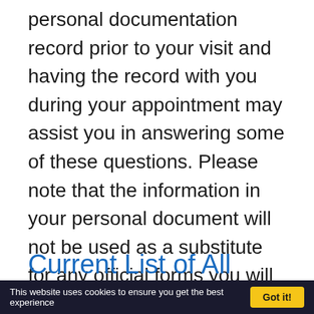personal documentation record prior to your visit and having the record with you during your appointment may assist you in answering some of these questions. Please note that the information in your personal document will not be used as a substitute for any official forms you will be asked to complete prior to your appointment.
Current List of All Medications You A...
This website uses cookies to ensure you get the best experience   Got it!